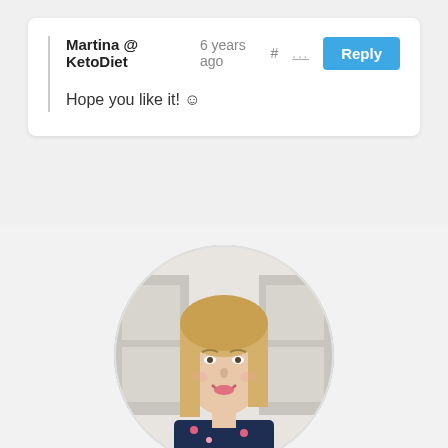Martina @ KetoDiet  6 years ago #  ...  Reply
Hope you like it! ☺
[Figure (photo): Circular profile photo of a smiling blonde woman in a floral top, kitchen background]